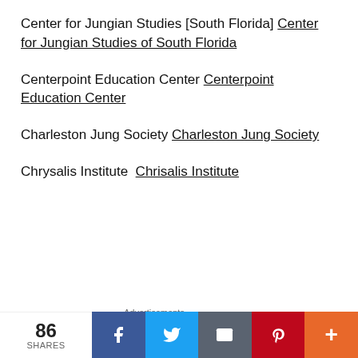Center for Jungian Studies [South Florida] Center for Jungian Studies of South Florida
Centerpoint Education Center Centerpoint Education Center
Charleston Jung Society Charleston Jung Society
Chrysalis Institute  Chrisalis Institute
[Figure (screenshot): Advertisement banner with red background showing 'An app by' text and a phone image]
[Figure (screenshot): Bottom advertisement strip showing partial image]
86 SHARES
[Figure (infographic): Social sharing bar with Facebook, Twitter, Email, Pinterest, and More buttons]